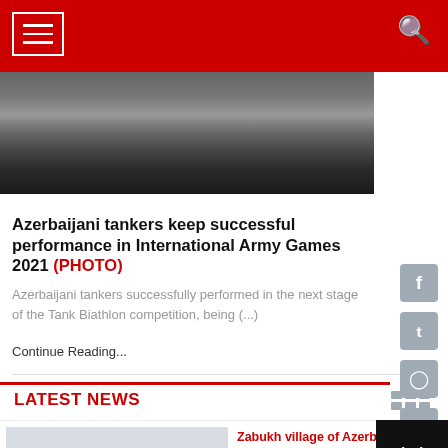Navigation header with hamburger menu and search icon
[Figure (photo): Bottom view of a military tank with tracks and wheels visible, dark muddy ground background]
Azerbaijani tankers keep successful performance in International Army Games 2021 (PHOTO)
Azerbaijani tankers successfully performed in the next stage of the Tank Biathlon competition, being (...)
Continue Reading...
LATEST NEWS
Zabukh village of Azerbaijan's L... region (VIDEO)